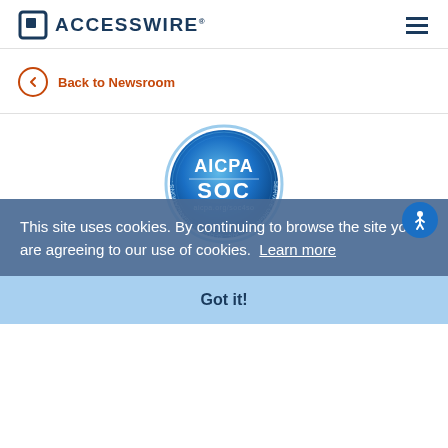[Figure (logo): ACCESSWIRE logo with square icon and text]
Back to Newsroom
[Figure (logo): AICPA SOC certification badge circular seal]
This site uses cookies. By continuing to browse the site you are agreeing to our use of cookies. Learn more
Got it!
888.952.4446
Sales  Editorial  Content licensing
Copyright 2022 © ACCESSWIRE. All rights reserved. Privacy Policy | Terms of Service | Responsible Disclosure Guidelines